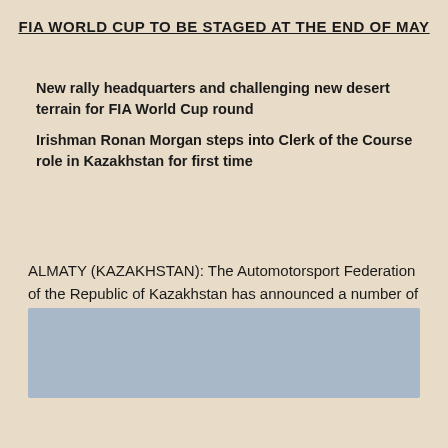FIA WORLD CUP TO BE STAGED AT THE END OF MAY
New rally headquarters and challenging new desert terrain for FIA World Cup round
Irishman Ronan Morgan steps into Clerk of the Course role in Kazakhstan for first time
ALMATY (KAZAKHSTAN): The Automotorsport Federation of the Republic of Kazakhstan has announced a number of revisions to Rally Kazakhstan, the fifth round of the 2018 FIA World Cup for Cross-Country Rallies, which will be held in the west of the country, near the Caspian Sea, from May 27-June 2, 2018.
[Figure (photo): Grey/blue rectangular image placeholder at the bottom of the page]